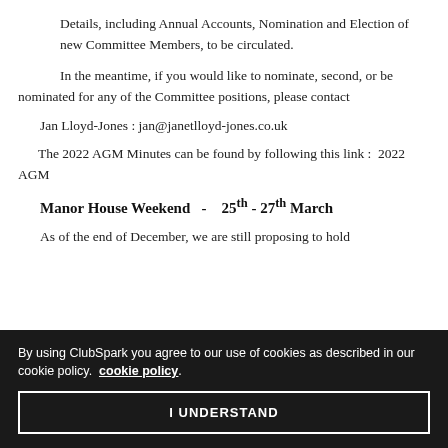Details, including Annual Accounts, Nomination and Election of new Committee Members, to be circulated.
In the meantime, if you would like to nominate, second, or be nominated for any of the Committee positions, please contact
Jan Lloyd-Jones :  jan@janetlloyd-jones.co.uk
The 2022 AGM Minutes can be found by following this link :  2022 AGM
Manor House Weekend  -  25th - 27th March
As of the end of December, we are still proposing to hold
By using ClubSpark you agree to our use of cookies as described in our cookie policy. cookie policy.
I UNDERSTAND